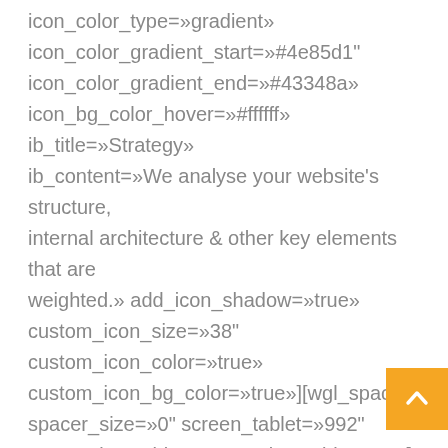icon_color_type=»gradient» icon_color_gradient_start=»#4e85d1" icon_color_gradient_end=»#43348a» icon_bg_color_hover=»#ffffff» ib_title=»Strategy» ib_content=»We analyse your website's structure, internal architecture & other key elements that are weighted.» add_icon_shadow=»true» custom_icon_size=»38" custom_icon_color=»true» custom_icon_bg_color=»true»][wgl_spacing spacer_size=»0" screen_tablet=»992" responsive_tablet=»true» size_tablet=»10"] [/vc_column_inner][vc_column_inner width=»1/2" offset=»vc_col-md-4"][wgl_info_box ib_align=»center» icon_type=»font» icon_font_type=»type_flaticon» icon_flaticon=»flaticon-gear-1" icon_shadow_style=»always»